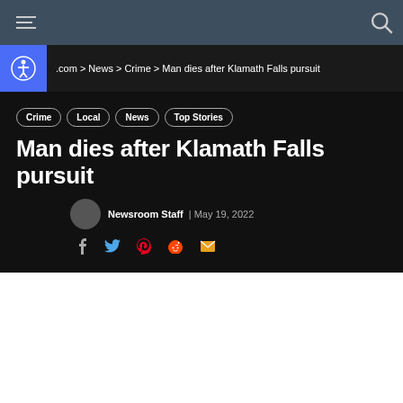Navigation bar with hamburger menu and search icon
.com > News > Crime > Man dies after Klamath Falls pursuit
Crime  Local  News  Top Stories
Man dies after Klamath Falls pursuit
Newsroom Staff | May 19, 2022
Social share icons: Facebook, Twitter, Pinterest, Reddit, Email